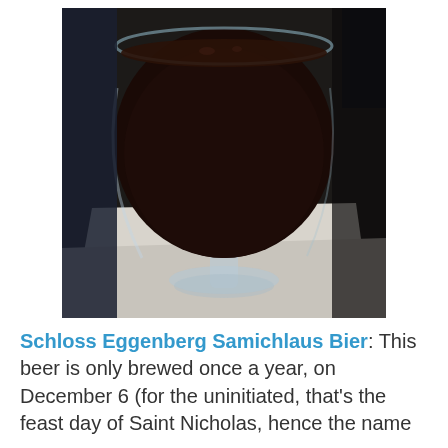[Figure (photo): A close-up photo of a dark beer in a round snifter glass sitting on a white napkin or coaster on a dark table.]
Schloss Eggenberg Samichlaus Bier: This beer is only brewed once a year, on December 6 (for the uninitiated, that's the feast day of Saint Nicholas, hence the name